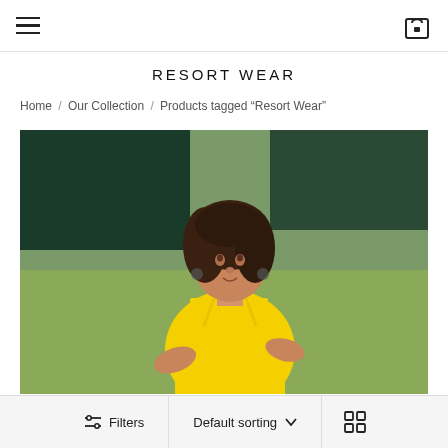Navigation bar with hamburger menu and shopping bag icon
RESORT WEAR
Home / Our Collection / Products tagged "Resort Wear"
[Figure (photo): A young woman with curly hair wearing a yellow crochet spaghetti-strap top, standing outdoors in front of green grass and tropical plants]
Filters  Default sorting  (grid view icon)